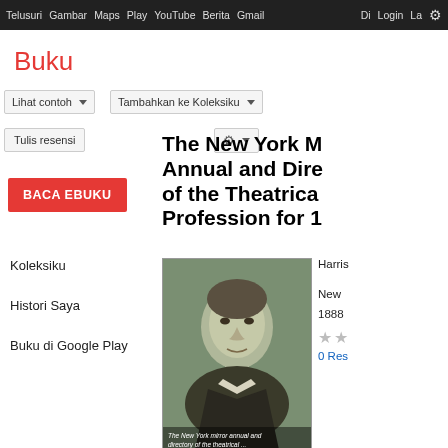Telusuri Gambar Maps Play YouTube Berita Gmail Diri Login Lainnya
Buku
Lihat contoh
Tambahkan ke Koleksiku
Tulis resensi
BACA EBUKU
Koleksiku
Histori Saya
Buku di Google Play
The New York M Annual and Dire of the Theatrica Profession for 1
[Figure (photo): Book cover of The New York Mirror Annual and Directory of the Theatrical Profession, showing a black and white portrait of Harrison Gray Fiske]
Harris
New
1888
The New York mirror annual and directory of the theatrical ... Harrison Gray Fiske
0 Res